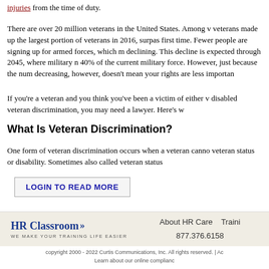injuries from the time of duty.
There are over 20 million veterans in the United States. Among v veterans made up the largest portion of veterans in 2016, surpas first time. Fewer people are signing up for armed forces, which m declining. This decline is expected through 2045, where military n 40% of the current military force. However, just because the num decreasing, however, doesn't mean your rights are less importan
If you're a veteran and you think you've been a victim of either v disabled veteran discrimination, you may need a lawyer. Here's w
What Is Veteran Discrimination?
One form of veteran discrimination occurs when a veteran canno veteran status or disability. Sometimes also called veteran status
LOGIN TO READ MORE
[Figure (logo): HR Classroom logo with arrow and tagline WE MAKE YOUR TRAINING LIFE EASIER]
About HR Care   Traini
877.376.6158
copyright 2000 - 2022 Curtis Communications, Inc. All rights reserved. | Ac
Learn about our online complianc